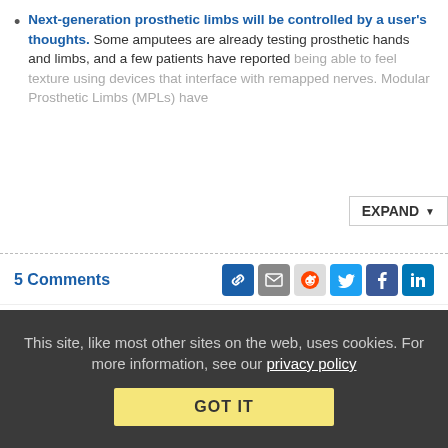Next-generation prosthetic limbs will be controlled by a user's thoughts. Some amputees are already testing prosthetic hands and limbs, and a few patients have reported being able to feel texture using devices that interface with remapped nerves. Modular Prosthetic Limbs (MPLs) have…
5 Comments
DailyDirt: Braiiins… And Brain Implants
from the urls-we-dig-up dept
Wed, May 6th 2015 05:00pm - Michael Ho
Cyborgs are already walking among us — if you count people who have advanced pacemakers and
This site, like most other sites on the web, uses cookies. For more information, see our privacy policy